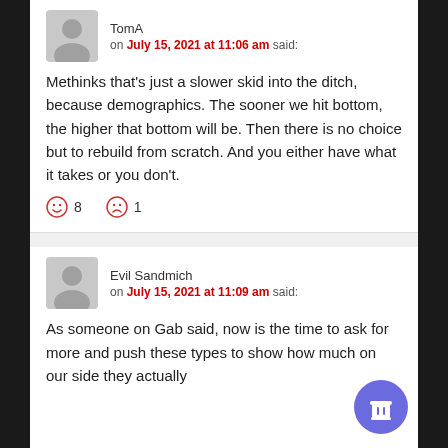TomA
on July 15, 2021 at 11:06 am said:
Methinks that’s just a slower skid into the ditch, because demographics. The sooner we hit bottom, the higher that bottom will be. Then there is no choice but to rebuild from scratch. And you either have what it takes or you don’t.
☺ 8   ☹ 1
Evil Sandmich
on July 15, 2021 at 11:09 am said:
As someone on Gab said, now is the time to ask for more and push these types to show how much on our side they actually